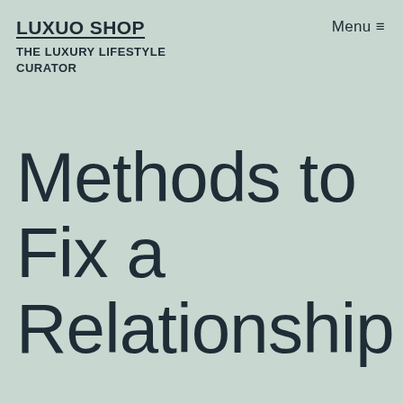LUXUO SHOP
THE LUXURY LIFESTYLE CURATOR
Menu ≡
Methods to Fix a Relationship – Acknowledgin